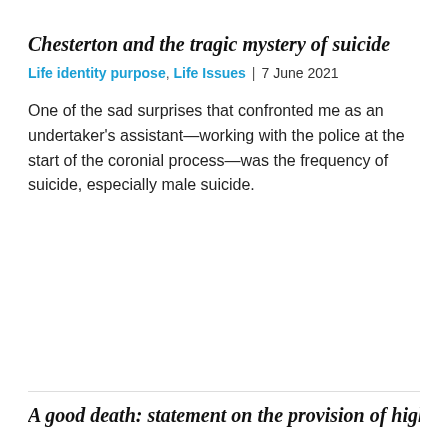Chesterton and the tragic mystery of suicide
Life identity purpose, Life Issues | 7 June 2021
One of the sad surprises that confronted me as an undertaker's assistant—working with the police at the start of the coronial process—was the frequency of suicide, especially male suicide.
A good death: statement on the provision of high-